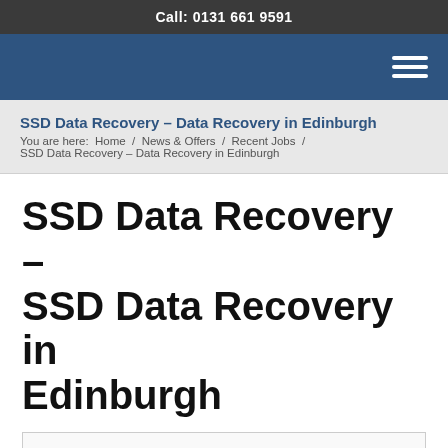Call: 0131 661 9591
[Figure (other): Navigation bar with hamburger menu icon on dark blue background]
SSD Data Recovery – Data Recovery in Edinburgh
You are here: Home / News & Offers / Recent Jobs / SSD Data Recovery – Data Recovery in Edinburgh
SSD Data Recovery – SSD Data Recovery in Edinburgh
[Figure (other): Empty content box with light border]